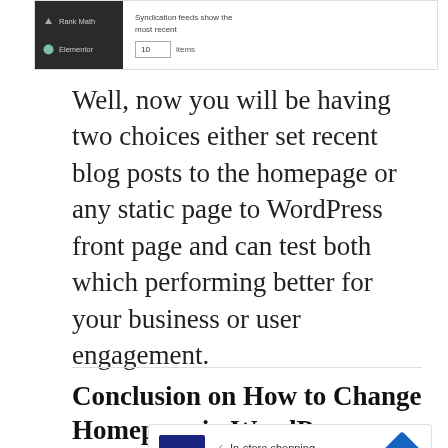[Figure (screenshot): WordPress admin UI screenshot showing a dark sidebar with 'Rank Math' and 'Elementor' menu items, and main content area with 'Syndication feeds show the most recent' text and a text input field showing '10' with 'items' label.]
Well, now you will be having two choices either set recent blog posts to the homepage or any static page to WordPress front page and can test both which performing better for your business or user engagement.
Conclusion on How to Change Homepage in WordPress
[Figure (screenshot): Advertisement box showing 'cm' logo in dark blue/yellow, checkmarks for 'In-store shopping', 'Curbside pickup', 'Delivery', and a blue diamond navigation icon on the right. Below are play and close icons.]